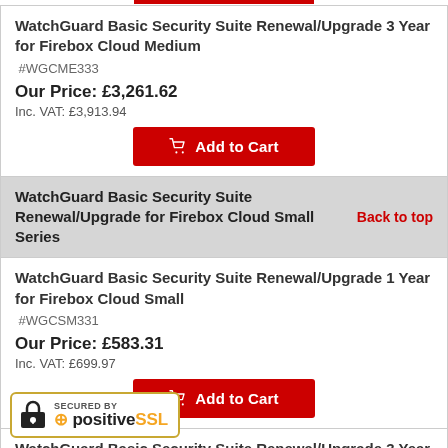[Figure (other): Red button partial at top of page]
WatchGuard Basic Security Suite Renewal/Upgrade 3 Year for Firebox Cloud Medium
#WGCME333
Our Price: £3,261.62
Inc. VAT: £3,913.94
[Figure (other): Add to Cart red button]
WatchGuard Basic Security Suite Renewal/Upgrade for Firebox Cloud Small Series
WatchGuard Basic Security Suite Renewal/Upgrade 1 Year for Firebox Cloud Small
#WGCSM331
Our Price: £583.31
Inc. VAT: £699.97
[Figure (other): Add to Cart red button]
WatchGuard Basic Security Suite Renewal/Upgrade 3 Year for Firebox Cloud Small
[Figure (logo): Secured by PositiveSSL badge]